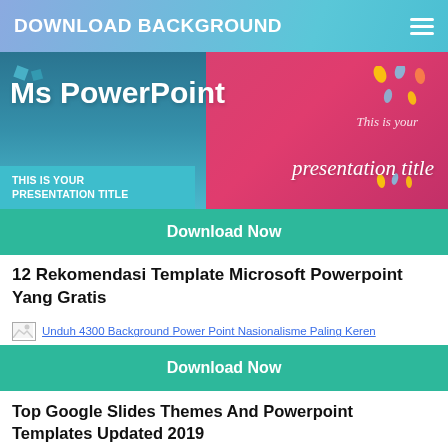DOWNLOAD BACKGROUND
[Figure (screenshot): PowerPoint template banner showing 'Ms PowerPoint' text over teal/blue left half and pink/red right half. Left bottom shows 'THIS IS YOUR PRESENTATION TITLE' text block. Right bottom shows 'presentation title' in cursive.]
Download Now
12 Rekomendasi Template Microsoft Powerpoint Yang Gratis
[Figure (photo): Broken image placeholder for 'Unduh 4300 Background Power Point Nasionalisme Paling Keren']
Download Now
Top Google Slides Themes And Powerpoint Templates Updated 2019